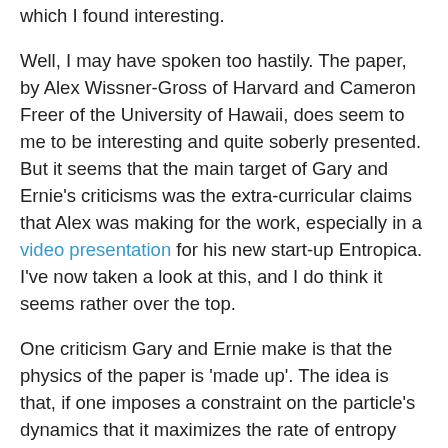which I found interesting.
Well, I may have spoken too hastily. The paper, by Alex Wissner-Gross of Harvard and Cameron Freer of the University of Hawaii, does seem to me to be interesting and quite soberly presented. But it seems that the main target of Gary and Ernie's criticisms was the extra-curricular claims that Alex was making for the work, especially in a video presentation for his new start-up Entropica. I've now taken a look at this, and I do think it seems rather over the top.
One criticism Gary and Ernie make is that the physics of the paper is 'made up'. The idea is that, if one imposes a constraint on the particle's dynamics that it maximizes the rate of entropy production over the entire course of its history – which means giving it an ability to look ahead – then one finds it doing all sorts of interesting things, such as cooperating with other particles or using them like 'tools'. The objection is that real particles don't obviously behave this way. But I'd maintain that there is a long and healthy tradition in physics of applying this sort of 'what if' thinking: what if the system were governed by this rule rather than